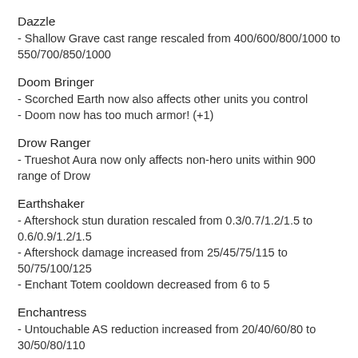Dazzle
- Shallow Grave cast range rescaled from 400/600/800/1000 to 550/700/850/1000
Doom Bringer
- Scorched Earth now also affects other units you control
- Doom now has too much armor! (+1)
Drow Ranger
- Trueshot Aura now only affects non-hero units within 900 range of Drow
Earthshaker
- Aftershock stun duration rescaled from 0.3/0.7/1.2/1.5 to 0.6/0.9/1.2/1.5
- Aftershock damage increased from 25/45/75/115 to 50/75/100/125
- Enchant Totem cooldown decreased from 6 to 5
Enchantress
- Untouchable AS reduction increased from 20/40/60/80 to 30/50/80/110